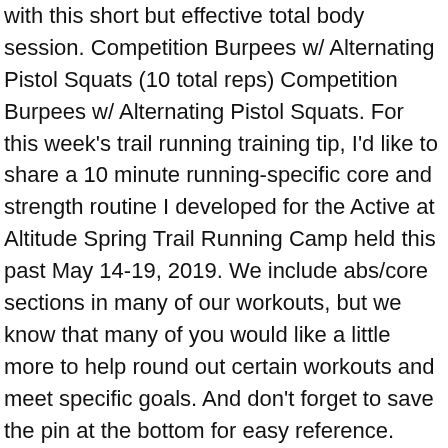with this short but effective total body session. Competition Burpees w/ Alternating Pistol Squats (10 total reps) Competition Burpees w/ Alternating Pistol Squats. For this week's trail running training tip, I'd like to share a 10 minute running-specific core and strength routine I developed for the Active at Altitude Spring Trail Running Camp held this past May 14-19, 2019. We include abs/core sections in many of our workouts, but we know that many of you would like a little more to help round out certain workouts and meet specific goals. And don't forget to save the pin at the bottom for easy reference. Your 10-Minute Workout Mini bursts of exercise will help you lose weight fast, especially if you combine fat-burning cardio and contouring strength moves. Hitting a workout wall? These basic but challenging strength moves will get your body heated, your muscles strong and your heart pumping. Do 10-minute workouts make a difference? Leave us a comment below and let us know how it went! Your core, lower body, and upper body will feel all the love. 9:20. Try the 10-Minute Home Workout Try the 10-Minute Home Workout. Firm up your bum, abs, legs and arms with this 10-minute … And if you prefer